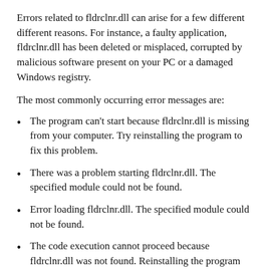Errors related to fldrclnr.dll can arise for a few different different reasons. For instance, a faulty application, fldrclnr.dll has been deleted or misplaced, corrupted by malicious software present on your PC or a damaged Windows registry.
The most commonly occurring error messages are:
The program can't start because fldrclnr.dll is missing from your computer. Try reinstalling the program to fix this problem.
There was a problem starting fldrclnr.dll. The specified module could not be found.
Error loading fldrclnr.dll. The specified module could not be found.
The code execution cannot proceed because fldrclnr.dll was not found. Reinstalling the program may fix this problem.
fldrclnr.dll is either not designed to run on Windows or it contains an error. Try installing the program again using the original installation media or contact your system administrator or the software vender for